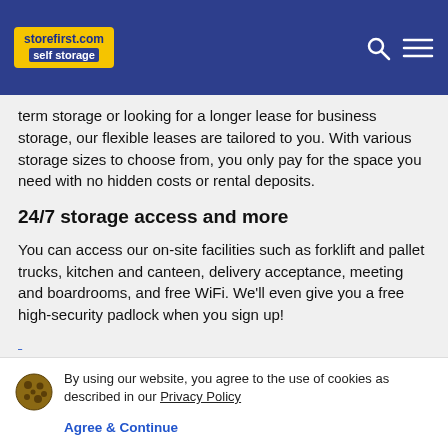storefirst.com self storage
term storage or looking for a longer lease for business storage, our flexible leases are tailored to you. With various storage sizes to choose from, you only pay for the space you need with no hidden costs or rental deposits.
24/7 storage access and more
You can access our on-site facilities such as forklift and pallet trucks, kitchen and canteen, delivery acceptance, meeting and boardrooms, and free WiFi. We'll even give you a free high-security padlock when you sign up!
By using our website, you agree to the use of cookies as described in our Privacy Policy
Agree & Continue